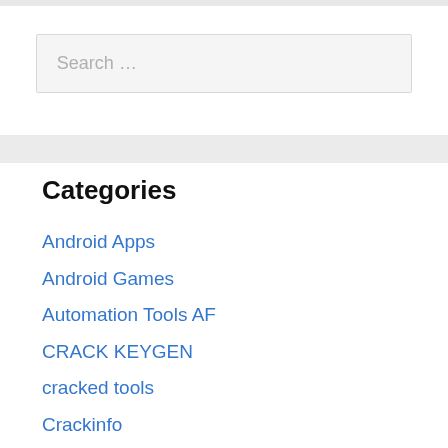Search …
Categories
Android Apps
Android Games
Automation Tools AF
CRACK KEYGEN
cracked tools
Crackinfo